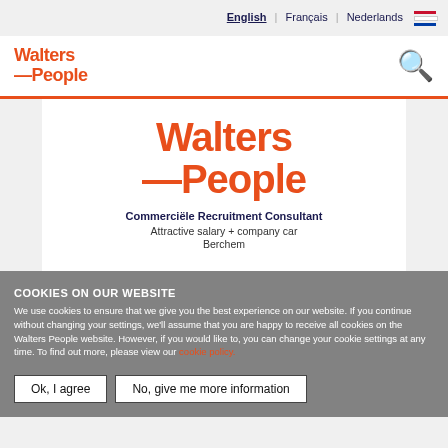English | Français | Nederlands
[Figure (logo): Walters People logo in orange with dash, navigation bar with search icon]
[Figure (logo): Walters People large orange logo in center white panel]
Commerciële Recruitment Consultant
Attractive salary + company car
Berchem
COOKIES ON OUR WEBSITE
We use cookies to ensure that we give you the best experience on our website. If you continue without changing your settings, we'll assume that you are happy to receive all cookies on the Walters People website. However, if you would like to, you can change your cookie settings at any time. To find out more, please view our cookie policy.
Ok, I agree
No, give me more information